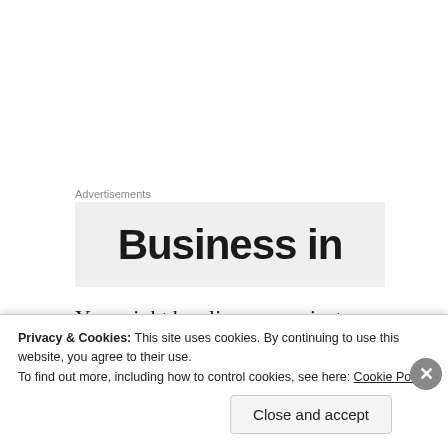Advertisements
[Figure (other): Advertisement banner showing partial text 'Business in' on a light gray background]
You might be alive or you just
Breathe to pass the time…
But your so lucky,
So lucky to have it all
Privacy & Cookies: This site uses cookies. By continuing to use this website, you agree to their use.
To find out more, including how to control cookies, see here: Cookie Policy